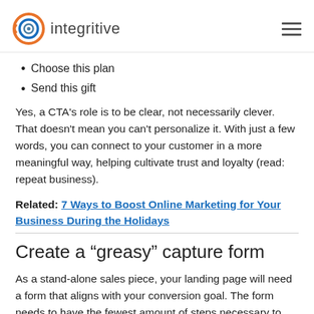integritive
Choose this plan
Send this gift
Yes, a CTA’s role is to be clear, not necessarily clever. That doesn’t mean you can’t personalize it. With just a few words, you can connect to your customer in a more meaningful way, helping cultivate trust and loyalty (read: repeat business).
Related: 7 Ways to Boost Online Marketing for Your Business During the Holidays
Create a “greasy” capture form
As a stand-alone sales piece, your landing page will need a form that aligns with your conversion goal. The form needs to have the fewest amount of steps necessary to